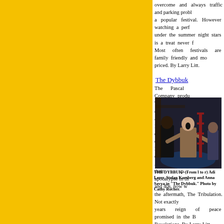overcome and always traffic and parking problems are to be overcome to make this a popular festival. However watching a performance under the summer night stars is a treat never forgotten. Most often festivals are family friendly and modestly priced. By Larry Litt.
[Figure (photo): Theatre performance photo showing actors on stage. Caption reads: THE DYBBUK--(From l to r) Adi Lerer, Stefan Karsberg and Anna Savva in "The Dybbuk." Photo by Cathy Rocher.]
The Dybbuk
The Pascal Company production of The Dybbuk answers the 'what' Jewish art question: lives in the Holocaust event for Jews can only be compared to Evangelical Christian obsession with the Apocalypse. Jews had their personal apocalypse in the 30s and 40s, now we have the aftermath, The Tribulation. Not exactly the 1000 years reign of peace promised in the Book of Revelations. By Larry Litt.
Old High...